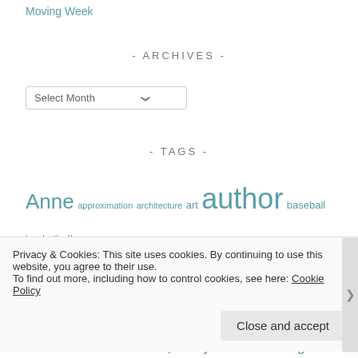Moving Week
- ARCHIVES -
Select Month
- TAGS -
Anne approximation architecture art author baseball basketball birthday Blogs book clubs books Bridgit brooklyn Christmas Countdown elaboration emoji evelyn fiction writing friends generating ideas I did it! interactive read aloud Jason Reynolds
Privacy & Cookies: This site uses cookies. By continuing to use this website, you agree to their use. To find out more, including how to control cookies, see here: Cookie Policy
Close and accept